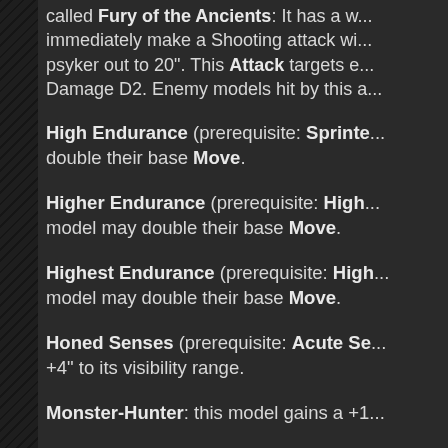called Fury of the Ancients: It has a w... immediately make a Shooting attack wi... psyker out to 20". This Attack targets e... Damage D2. Enemy models hit by this a...
High Endurance (prerequisite: Sprinte... double their base Move.
Higher Endurance (prerequisite: High... model may double their base Move.
Highest Endurance (prerequisite: High... model may double their base Move.
Honed Senses (prerequisite: Acute Se... +4" to its visibility range.
Monster-Hunter: this model gains a +1...